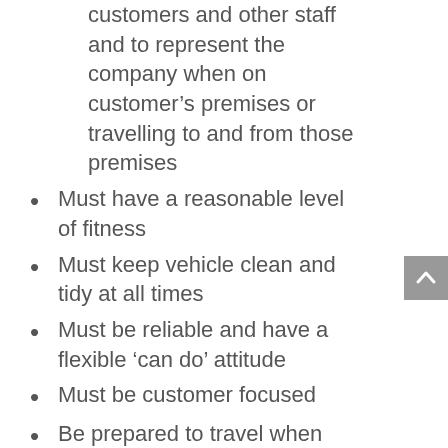customers and other staff and to represent the company when on customer's premises or travelling to and from those premises
Must have a reasonable level of fitness
Must keep vehicle clean and tidy at all times
Must be reliable and have a flexible 'can do' attitude
Must be customer focused
Be prepared to travel when necessary for training, travel costs provided
Applicants must be above 20 years of age for insurance purposes
Overnights and weekends when required, occasional
Operating crane HIAB (desirable)
Opportunity to become FORS qualified